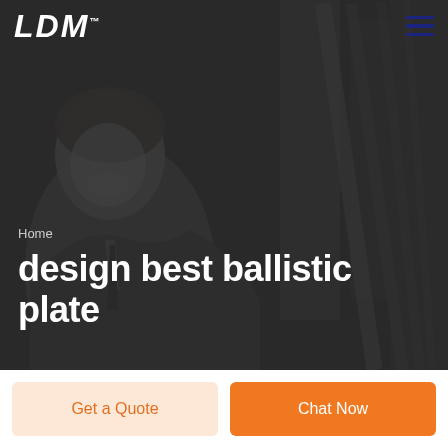LDM
[Figure (photo): Black and white photo of a smiling man in a suit and tie, with blurred urban/industrial background]
Home
design best ballistic plate
Get a Quote
Chat Now